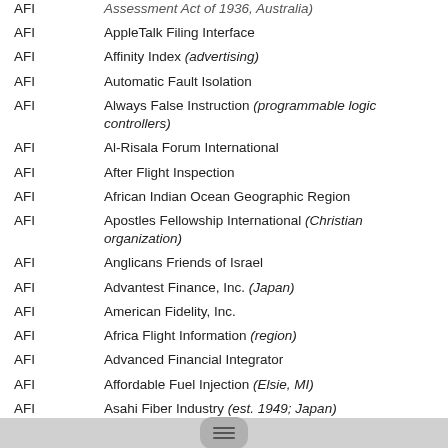AFI — Assessment Act of 1936, Australia)
AFI — AppleTalk Filing Interface
AFI — Affinity Index (advertising)
AFI — Automatic Fault Isolation
AFI — Always False Instruction (programmable logic controllers)
AFI — Al-Risala Forum International
AFI — After Flight Inspection
AFI — African Indian Ocean Geographic Region
AFI — Apostles Fellowship International (Christian organization)
AFI — Anglicans Friends of Israel
AFI — Advantest Finance, Inc. (Japan)
AFI — American Fidelity, Inc.
AFI — Africa Flight Information (region)
AFI — Advanced Financial Integrator
AFI — Affordable Fuel Injection (Elsie, MI)
AFI — Asahi Fiber Industry (est. 1949; Japan)
AFI — American Forces Italy